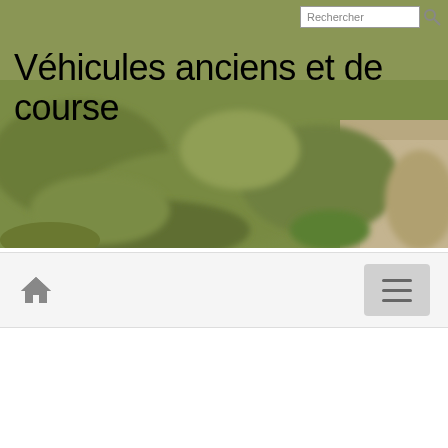[Figure (photo): Blurred outdoor landscape photo with green grass and gravel path, serving as hero background image for a website about vintage and racing vehicles]
Rechercher
Véhicules anciens et de course
[Figure (infographic): Navigation bar with home icon on the left and hamburger menu button on the right, light grey background]